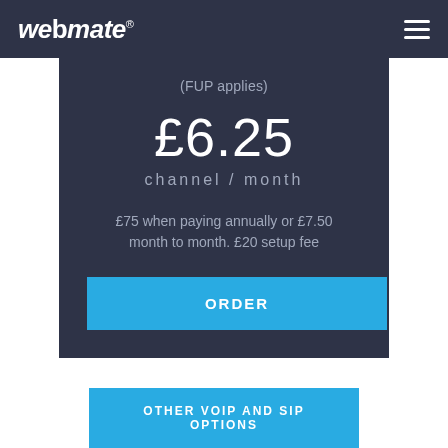[Figure (logo): Webmate logo in white italic text on dark navy background]
(FUP applies)
£6.25
channel / month
£75 when paying annually or £7.50 month to month. £20 setup fee
ORDER
OTHER VOIP AND SIP OPTIONS